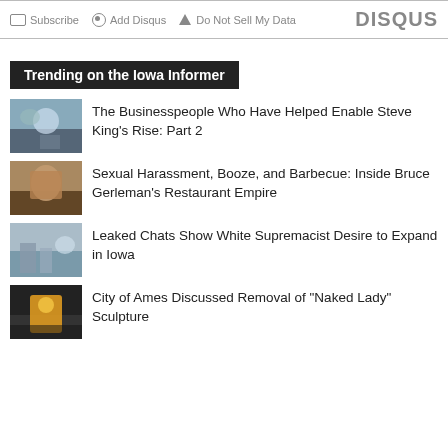Subscribe  Add Disqus  Do Not Sell My Data  DISQUS
Trending on the Iowa Informer
The Businesspeople Who Have Helped Enable Steve King's Rise: Part 2
Sexual Harassment, Booze, and Barbecue: Inside Bruce Gerleman's Restaurant Empire
Leaked Chats Show White Supremacist Desire to Expand in Iowa
City of Ames Discussed Removal of "Naked Lady" Sculpture